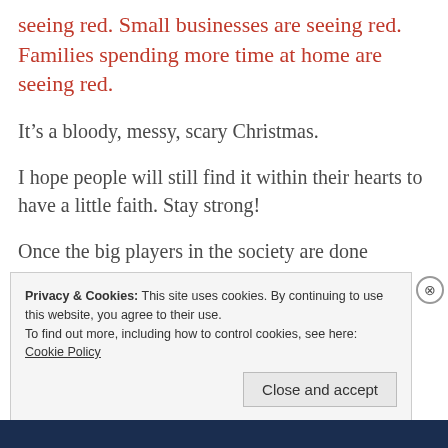seeing red. Small businesses are seeing red. Families spending more time at home are seeing red.
It's a bloody, messy, scary Christmas.
I hope people will still find it within their hearts to have a little faith. Stay strong!
Once the big players in the society are done
Privacy & Cookies: This site uses cookies. By continuing to use this website, you agree to their use.
To find out more, including how to control cookies, see here:
Cookie Policy
Close and accept